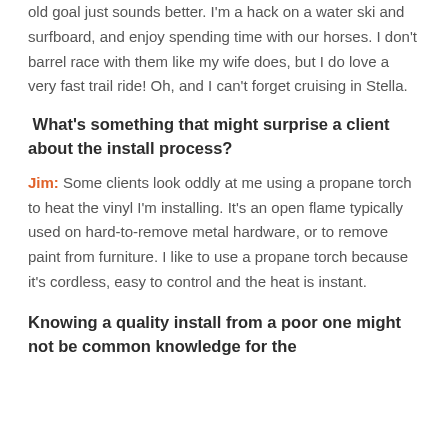old goal just sounds better. I'm a hack on a water ski and surfboard, and enjoy spending time with our horses. I don't barrel race with them like my wife does, but I do love a very fast trail ride! Oh, and I can't forget cruising in Stella.
What's something that might surprise a client about the install process?
Jim: Some clients look oddly at me using a propane torch to heat the vinyl I'm installing. It's an open flame typically used on hard-to-remove metal hardware, or to remove paint from furniture. I like to use a propane torch because it's cordless, easy to control and the heat is instant.
Knowing a quality install from a poor one might not be common knowledge for the